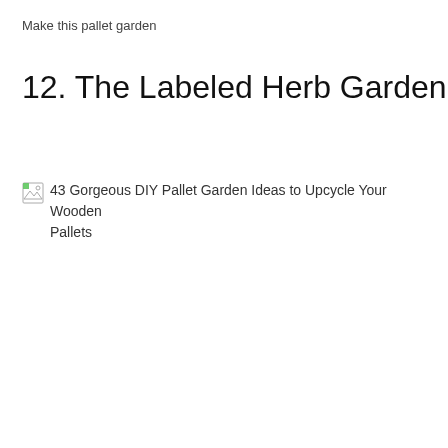Make this pallet garden
12. The Labeled Herb Garden
[Figure (illustration): Broken image placeholder with alt text: 43 Gorgeous DIY Pallet Garden Ideas to Upcycle Your Wooden Pallets]